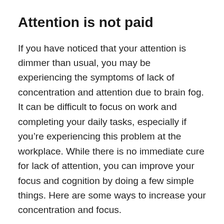Attention is not paid
If you have noticed that your attention is dimmer than usual, you may be experiencing the symptoms of lack of concentration and attention due to brain fog. It can be difficult to focus on work and completing your daily tasks, especially if you’re experiencing this problem at the workplace. While there is no immediate cure for lack of attention, you can improve your focus and cognition by doing a few simple things. Here are some ways to increase your concentration and focus.
Brain fog can be caused by COVID, a medical condition. It can be caused by inflammation or a variety of other causes. Consult a doctor if you feel your brain may not be functioning to its